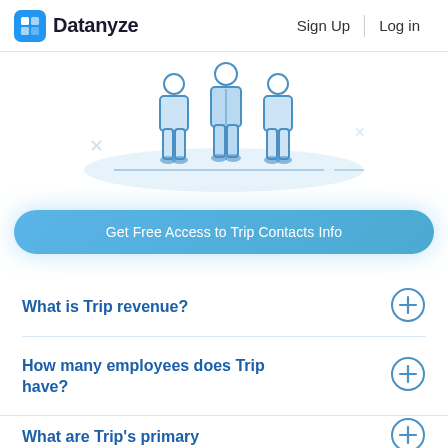Datanyze | Sign Up | Log in
[Figure (illustration): Illustration of people standing together, rendered in light blue line art style with a horizontal baseline]
Get Free Access to Trip Contacts Info
What is Trip revenue?
How many employees does Trip have?
What are Trip's primary